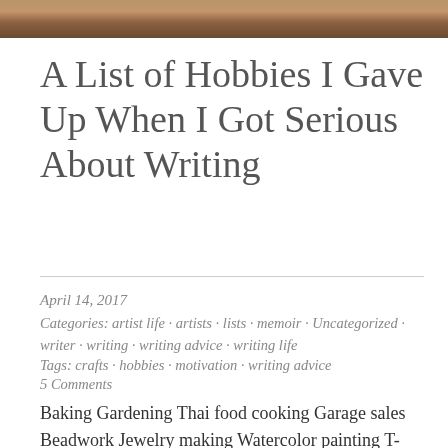[Figure (photo): Partial photo strip at top of page showing warm-toned scene]
A List of Hobbies I Gave Up When I Got Serious About Writing
April 14, 2017
Categories: artist life · artists · lists · memoir · Uncategorized · writer · writing · writing advice · writing life
Tags: crafts · hobbies · motivation · writing advice
5 Comments
Baking Gardening Thai food cooking Garage sales Beadwork Jewelry making Watercolor painting T-shirt